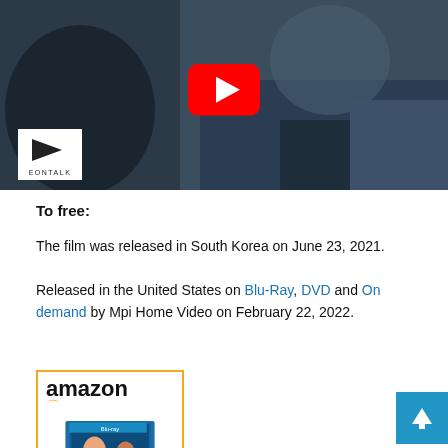[Figure (photo): Video thumbnail showing a man in a denim jacket in a dramatic scene with EONTALK logo and YouTube play button overlay]
To free:
The film was released in South Korea on June 23, 2021.
Released in the United States on Blu-Ray, DVD and On demand by Mpi Home Video on February 22, 2022.
[Figure (screenshot): Amazon product listing for Hard Hit Blu-ray]
[Figure (other): Scroll to top button (blue arrow up)]